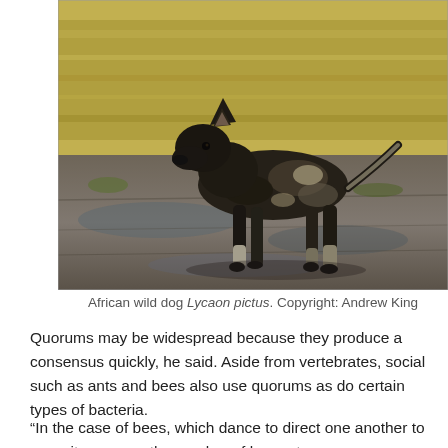[Figure (photo): African wild dog Lycaon pictus standing on muddy ground with grass in the background, photographed in a savanna environment.]
African wild dog Lycaon pictus. Copyright: Andrew King
Quorums may be widespread because they produce a consensus quickly, he said. Aside from vertebrates, social such as ants and bees also use quorums as do certain types of bacteria.
“In the case of bees, which dance to direct one another to new sites – once the number of bees at a